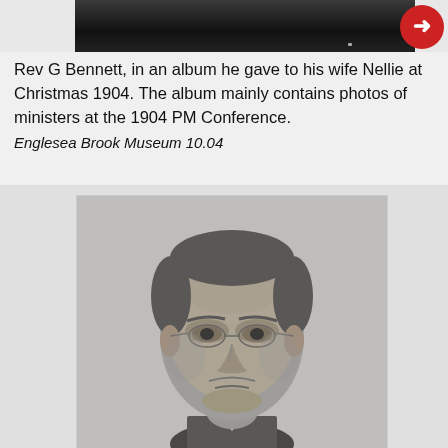[Figure (photo): Top portion of a historical black and white photograph, partially visible at the top of the page]
Rev G Bennett, in an album he gave to his wife Nellie at Christmas 1904. The album mainly contains photos of ministers at the 1904 PM Conference.
Englesea Brook Museum 10.04
[Figure (photo): Black and white portrait photograph of Rev G Bennett, an elderly man with glasses wearing dark clothing, facing forward with a serious expression]